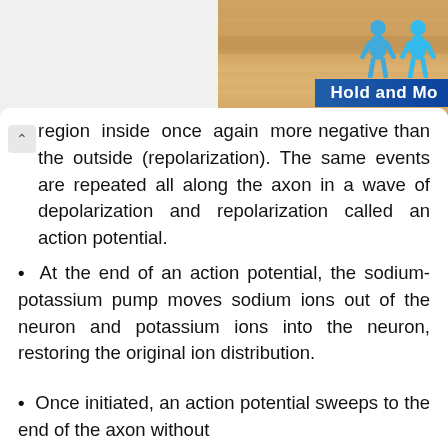[Figure (illustration): Partial view of a biology illustration showing layered/striped tissue or axon structure with two cyan/blue human figures and a 'Hold and Move' label banner in the top-right corner]
region inside once again more negative than the outside (repolarization). The same events are repeated all along the axon in a wave of depolarization and repolarization called an action potential.
At the end of an action potential, the sodium-potassium pump moves sodium ions out of the neuron and potassium ions into the neuron, restoring the original ion distribution.
Once initiated, an action potential sweeps to the end of the axon without diminishing in strength.